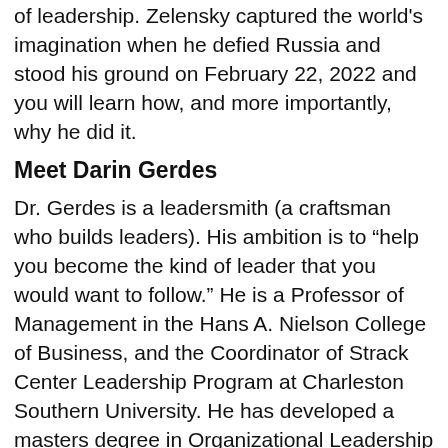of leadership. Zelensky captured the world's imagination when he defied Russia and stood his ground on February 22, 2022 and you will learn how, and more importantly, why he did it.
Meet Darin Gerdes
Dr. Gerdes is a leadersmith (a craftsman who builds leaders). His ambition is to “help you become the kind of leader that you would want to follow.” He is a Professor of Management in the Hans A. Nielson College of Business, and the Coordinator of Strack Center Leadership Program at Charleston Southern University. He has developed a masters degree in Organizational Leadership and two minors in Leadership Studies. He is the recipient of the 2018 CBFA Teaching Award and two-time Winner of SECRA’s Best Case Award. He has an interdisciplinary background that includes undergraduate degrees in Government and Psychology from Liberty University